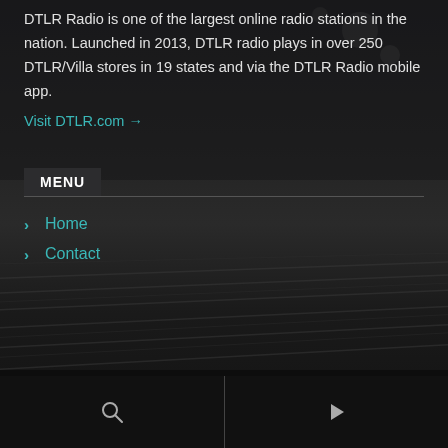DTLR Radio is one of the largest online radio stations in the nation. Launched in 2013, DTLR radio plays in over 250 DTLR/Villa stores in 19 states and via the DTLR Radio mobile app.
Visit DTLR.com →
MENU
Home
Contact
[Figure (other): Bottom navigation bar with search icon and play icon, separated by a vertical divider]